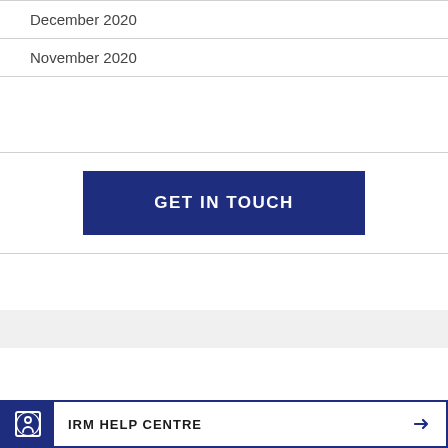December 2020
November 2020
GET IN TOUCH
IRM HELP CENTRE